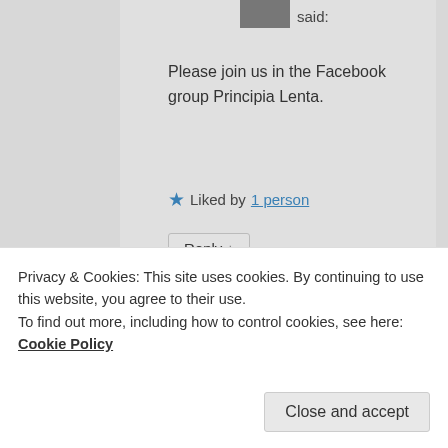said:
Please join us in the Facebook group Principia Lenta.
★ Liked by 1 person
Reply ↓
Tia
on February 11, 2018 at 5:18 PM said:
Privacy & Cookies: This site uses cookies. By continuing to use this website, you agree to their use.
To find out more, including how to control cookies, see here: Cookie Policy
Close and accept